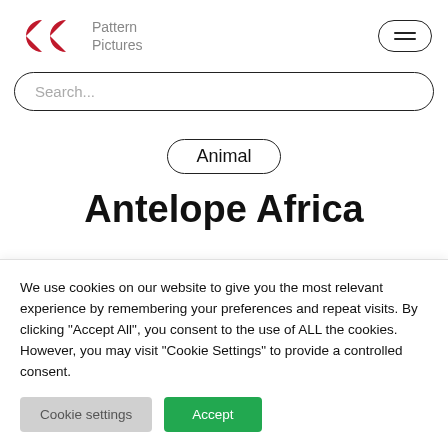[Figure (logo): Pattern Pictures logo: two red pac-man/circle shapes side by side forming a stylized 'pp' symbol, with gray text 'Pattern Pictures' to the right]
Search...
Animal
Antelope Africa
We use cookies on our website to give you the most relevant experience by remembering your preferences and repeat visits. By clicking "Accept All", you consent to the use of ALL the cookies. However, you may visit "Cookie Settings" to provide a controlled consent.
Cookie settings
Accept